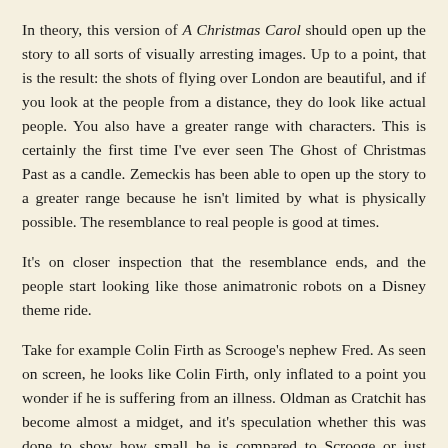In theory, this version of A Christmas Carol should open up the story to all sorts of visually arresting images. Up to a point, that is the result: the shots of flying over London are beautiful, and if you look at the people from a distance, they do look like actual people. You also have a greater range with characters. This is certainly the first time I've ever seen The Ghost of Christmas Past as a candle. Zemeckis has been able to open up the story to a greater range because he isn't limited by what is physically possible. The resemblance to real people is good at times.
It's on closer inspection that the resemblance ends, and the people start looking like those animatronic robots on a Disney theme ride.
Take for example Colin Firth as Scrooge's nephew Fred. As seen on screen, he looks like Colin Firth, only inflated to a point you wonder if he is suffering from an illness. Oldman as Cratchit has become almost a midget, and it's speculation whether this was done to show how small he is compared to Scrooge or just because they could make him smaller.
Whatever the reason, A Christmas Carol really is Carrey's show. It